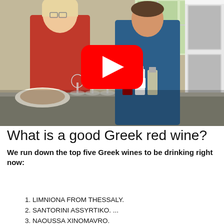[Figure (screenshot): Video thumbnail showing two people in a kitchen with wine glasses and wine bottles on a counter. A YouTube play button overlay is centered on the image.]
What is a good Greek red wine?
We run down the top five Greek wines to be drinking right now:
1. LIMNIONA FROM THESSALY.
2. SANTORINI ASSYRTIKO. ...
3. NAOUSSA XINOMAVRO.